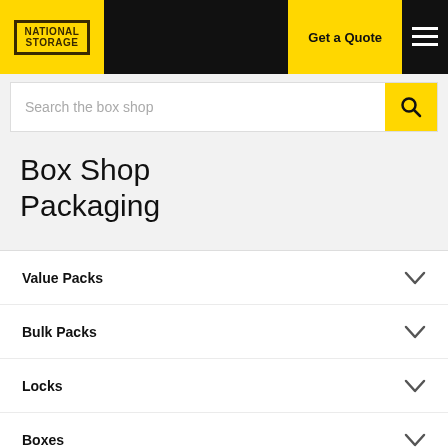[Figure (logo): National Storage logo: yellow square with black border containing 'NATIONAL STORAGE' text]
Get a Quote
Search the box shop
Box Shop Packaging
Value Packs
Bulk Packs
Locks
Boxes